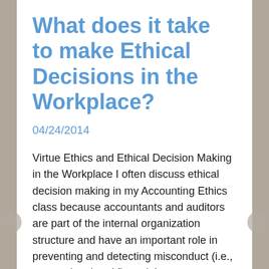What does it take to make Ethical Decisions in the Workplace?
04/24/2014
Virtue Ethics and Ethical Decision Making in the Workplace I often discuss ethical decision making in my Accounting Ethics class because accountants and auditors are part of the internal organization structure and have an important role in preventing and detecting misconduct (i.e., occupational and financial statement fraud). I typically start… Read more →